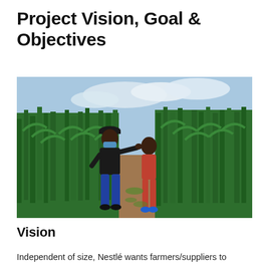Project Vision, Goal & Objectives
[Figure (photo): Two men standing in a maize field on a dirt path between tall green corn plants. One man wears a black cap, black shirt, blue jeans and a blue face mask, pointing toward the other man. The second man wears a red outfit with blue shoes. The sky is partly cloudy.]
Vision
Independent of size, Nestlé wants farmers/suppliers to